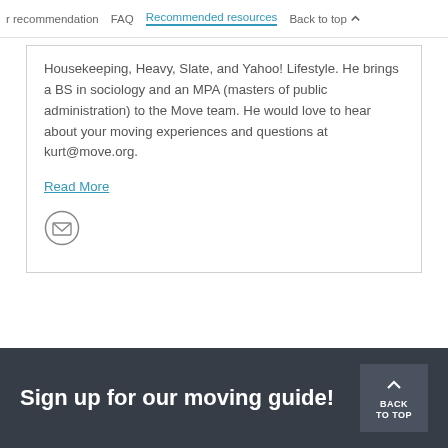r recommendation   FAQ   Recommended resources   Back to top
Housekeeping, Heavy, Slate, and Yahoo! Lifestyle. He brings a BS in sociology and an MPA (masters of public administration) to the Move team. He would love to hear about your moving experiences and questions at kurt@move.org.
Read More
[Figure (illustration): Mail envelope icon inside a circle]
Sign up for our moving guide!